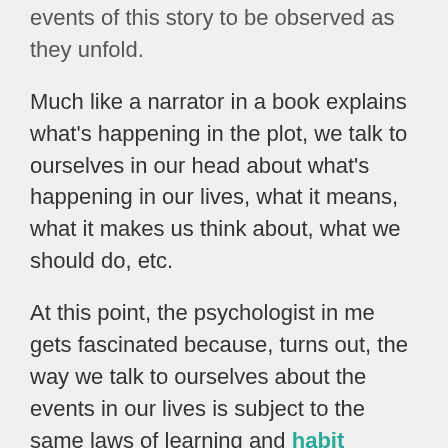events of the story to be observed as they unfold.
Much like a narrator in a book explains what's happening in the plot, we talk to ourselves in our head about what's happening in our lives, what it means, what it makes us think about, what we should do, etc.
At this point, the psychologist in me gets fascinated because, turns out, the way we talk to ourselves about the events in our lives is subject to the same laws of learning and habit formation that physical behaviors are.
That is, we can learn to talk to ourselves in specific ways just like we can learn to tie our shoes or say please and thank you.
So it seems this is a great idea but the idea of...